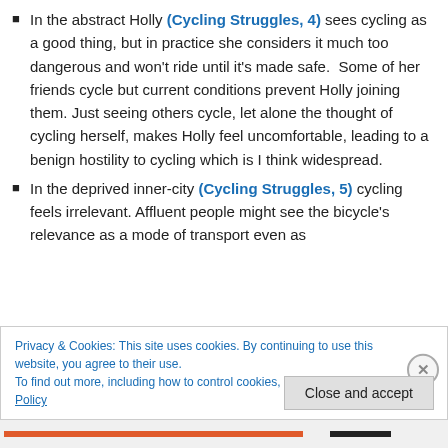In the abstract Holly (Cycling Struggles, 4) sees cycling as a good thing, but in practice she considers it much too dangerous and won't ride until it's made safe.  Some of her friends cycle but current conditions prevent Holly joining them. Just seeing others cycle, let alone the thought of cycling herself, makes Holly feel uncomfortable, leading to a benign hostility to cycling which is I think widespread.
In the deprived inner-city (Cycling Struggles, 5) cycling feels irrelevant. Affluent people might see the bicycle's relevance as a mode of transport even as
Privacy & Cookies: This site uses cookies. By continuing to use this website, you agree to their use.
To find out more, including how to control cookies, see here: Cookie Policy